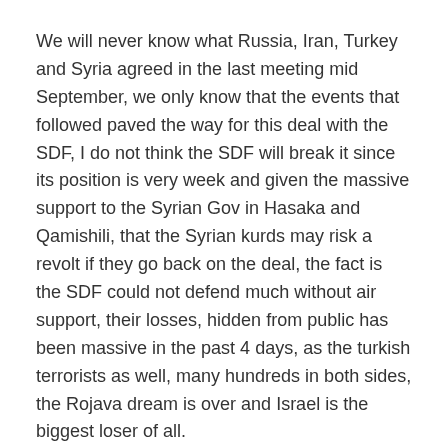We will never know what Russia, Iran, Turkey and Syria agreed in the last meeting mid September, we only know that the events that followed paved the way for this deal with the SDF, I do not think the SDF will break it since its position is very week and given the massive support to the Syrian Gov in Hasaka and Qamishili, that the Syrian kurds may risk a revolt if they go back on the deal, the fact is the SDF could not defend much without air support, their losses, hidden from public has been massive in the past 4 days, as the turkish terrorists as well, many hundreds in both sides, the Rojava dream is over and Israel is the biggest loser of all.
Putin is in Saudi Barbaria, many things will be discussed, KSA is the nbr 1 funder of SDC and that will stop, among other things. Putin is doing a masterful strike all over the ME, just incredible.
One last thing is, the EU did not participate in anything related to the deal in progress in Syria, it tells a lot about the current situation of NATO and affairs in eastern Europe."
Reply